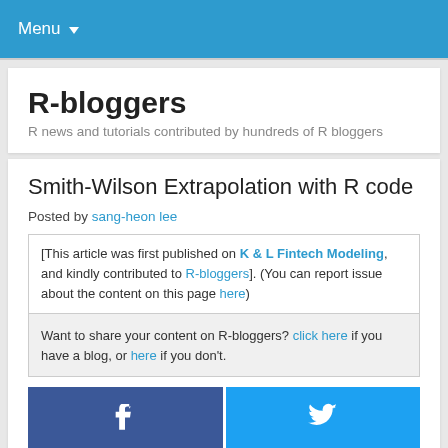Menu
R-bloggers
R news and tutorials contributed by hundreds of R bloggers
Smith-Wilson Extrapolation with R code
Posted by sang-heon lee
[This article was first published on K & L Fintech Modeling, and kindly contributed to R-bloggers]. (You can report issue about the content on this page here)
Want to share your content on R-bloggers? click here if you have a blog, or here if you don't.
[Figure (other): Facebook and Twitter social share buttons]
This post explains how to implement the Smith-Wilson extrapolation by